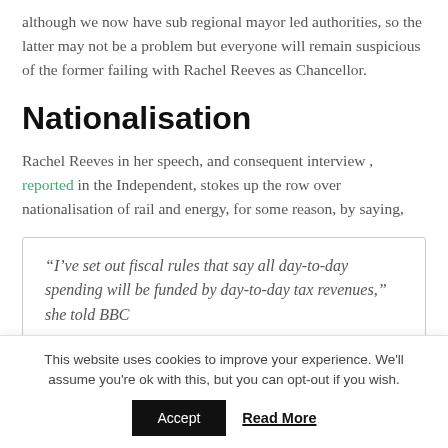although we now have sub regional mayor led authorities, so the latter may not be a problem but everyone will remain suspicious of the former failing with Rachel Reeves as Chancellor.
Nationalisation
Rachel Reeves in her speech, and consequent interview , reported in the Independent, stokes up the row over nationalisation of rail and energy, for some reason, by saying,
“I’ve set out fiscal rules that say all day-to-day spending will be funded by day-to-day tax revenues,” she told BBC
This website uses cookies to improve your experience. We'll assume you're ok with this, but you can opt-out if you wish.